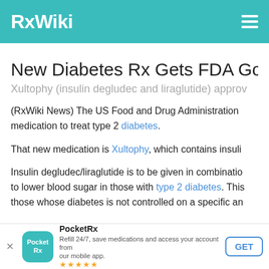RxWiki
New Diabetes Rx Gets FDA Go-Ah
Xultophy (insulin degludec and liraglutide) approv
(RxWiki News) The US Food and Drug Administration approved a new medication to treat type 2 diabetes.
That new medication is Xultophy, which contains insuli
Insulin degludec/liraglutide is to be given in combination to lower blood sugar in those with type 2 diabetes. This is for those whose diabetes is not controlled on a specific an
PocketRx — Refill 24/7, save medications and access your account from our mobile app.